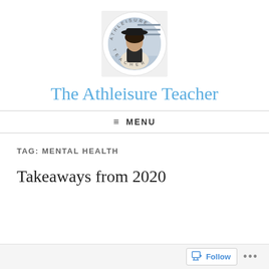[Figure (logo): Circular logo with photo of a woman wearing a black hat, with text 'ATHLEISURE TEACHER' curved around the circle border]
The Athleisure Teacher
≡ MENU
TAG: MENTAL HEALTH
Takeaways from 2020
Follow ...